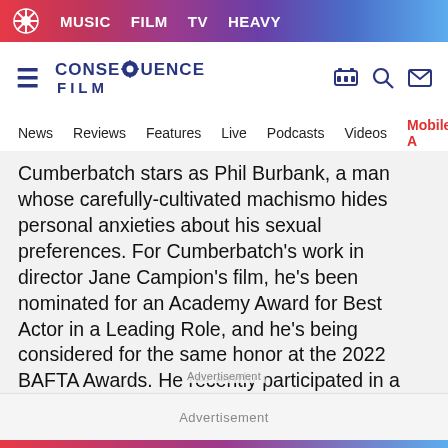MUSIC  FILM  TV  HEAVY
[Figure (logo): Consequence Film site logo with hamburger menu, gear-icon wordmark CONSEQUENCE FILM, and icons for theater, search, and mail]
News  Reviews  Features  Live  Podcasts  Videos  Mobile A
Cumberbatch stars as Phil Burbank, a man whose carefully-cultivated machismo hides personal anxieties about his sexual preferences. For Cumberbatch's work in director Jane Campion's film, he's been nominated for an Academy Award for Best Actor in a Leading Role, and he's being considered for the same honor at the 2022 BAFTA Awards. He recently participated in a BAFTA Film Sessions panel where he politely addressed the controversy.
Advertisement
Advertisement